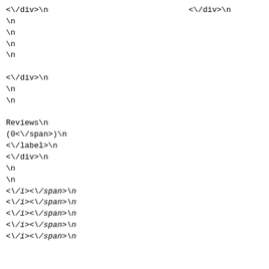<\/div>\n                              <\/div>\n          <div class="caption caption-list">\n<div class="row">\n                              <div class="col-md-12">\n                                <div class="col-sm-12">\n<div class="manufacturer-image col-xs-6"> <img src="https:\/\/dzrf1tezfwb3j.cloudfront.net\/uploads\/ images\/M-33-bertazzoni.png\" alt=\"Bertazzoni\" title=\"Bertazzoni\" class=\"img-responsive\" \/>\n<\/div>\n                              <div class=\"col-xs-6 pull-right\">\n<div class=\"text-right\" style=\"margin-bottom: -10px;\">\n<label class=\"captalize\"><label>\nReviews\n(<span>0<\/span>)\n<\/label>\n<\/div>\n                              <div class=\"text-right\">\n<div class=\"rating\">\n<span class=\"fa fa-stack\"><i class=\"fa fa-star fa-stack-2x blank\"><\/i><\/span>\n<span class=\"fa fa-stack\"><i class=\"fa fa-star fa-stack-2x blank\"><\/i><\/span>\n<span class=\"fa fa-stack\"><i class=\"fa fa-star fa-stack-2x blank\"><\/i><\/span>\n<span class=\"fa fa-stack\"><i class=\"fa fa-star fa-stack-2x blank\"><\/i><\/span>\n<span class=\"fa fa-stack\"><i class=\"fa fa-star fa-stack-2x blank\"><\/i><\/span>\n